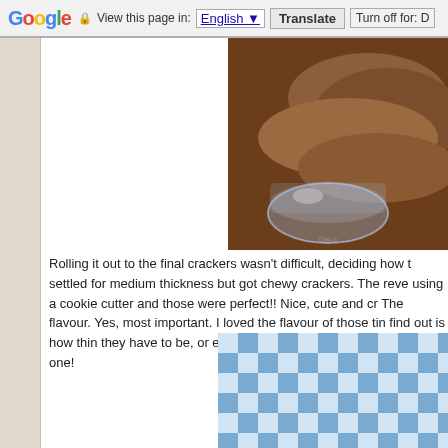Google  View this page in: English ▼  Translate  Turn off for: D
[Figure (photo): Photo of brown crackers/cookies in a glass bowl on a light blue surface]
Rolling it out to the final crackers wasn't difficult, deciding how t settled for medium thickness but got chewy crackers. The reve using a cookie cutter and those were perfect!! Nice, cute and c The flavour. Yes, most important. I loved the flavour of those ti find out is how thin they have to be, or else bake loads and loa challenging one!
[Figure (photo): Photo showing a blue and white checkered surface with a glass]